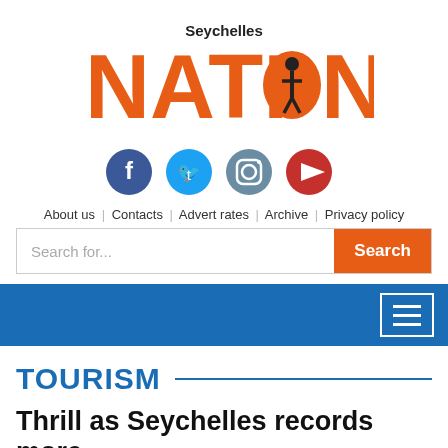[Figure (logo): Seychelles NATION newspaper logo with orange text and human figure icon inside the letter O]
[Figure (infographic): Social media icons: Facebook (blue), Twitter (light blue), Instagram (grey/blue), YouTube (red)]
About us | Contacts | Advert rates | Archive | Privacy policy
Search for...
TOURISM
Thrill as Seychelles records more